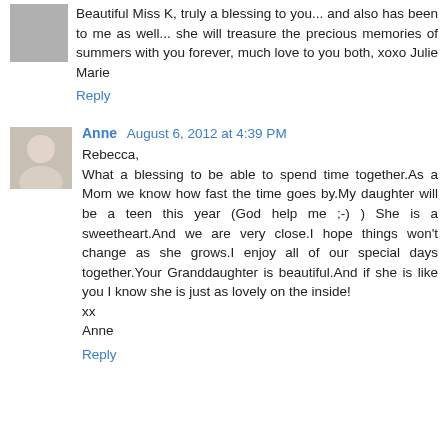Beautiful Miss K, truly a blessing to you... and also has been to me as well... she will treasure the precious memories of summers with you forever, much love to you both, xoxo Julie Marie
Reply
Anne August 6, 2012 at 4:39 PM
Rebecca,
What a blessing to be able to spend time together.As a Mom we know how fast the time goes by.My daughter will be a teen this year (God help me ;-) ) She is a sweetheart.And we are very close.I hope things won't change as she grows.I enjoy all of our special days together.Your Granddaughter is beautiful.And if she is like you I know she is just as lovely on the inside!
xx
Anne
Reply